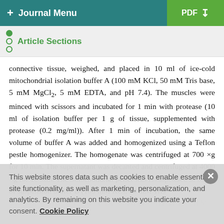+ Journal Menu  PDF ↓
Article Sections
connective tissue, weighed, and placed in 10 ml of ice-cold mitochondrial isolation buffer A (100 mM KCl, 50 mM Tris base, 5 mM MgCl₂, 5 mM EDTA, and pH 7.4). The muscles were minced with scissors and incubated for 1 min with protease (10 ml of isolation buffer per 1 g of tissue, supplemented with protease (0.2 mg/ml)). After 1 min of incubation, the same volume of buffer A was added and homogenized using a Teflon pestle homogenizer. The homogenate was centrifuged at 700 ×g for 10 min. The supernatant was decanted and centrifuged at 4000 ×g for 10 min. The mitochondrial pellet was resuspended in 30 ml of suspension buffer B (100 mM KCl, 50 mM Tris
This website stores data such as cookies to enable essential site functionality, as well as marketing, personalization, and analytics. By remaining on this website you indicate your consent. Cookie Policy